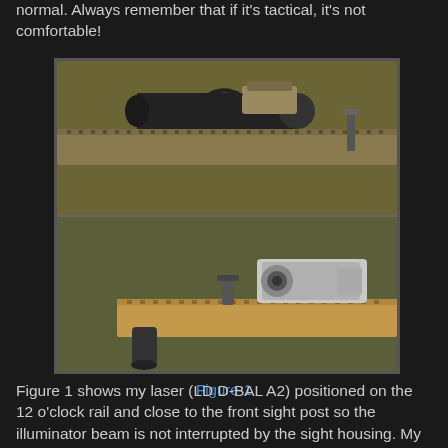normal. Always remember that if it's tactical, it's not comfortable!
[Figure (photo): Two photos of tactical rifles with accessories mounted on rails. Top photo shows a rifle with a flashlight/laser device (LD D-BAL A2) mounted on the 12 o'clock rail near the front sight post, with a cylindrical illuminator. Bottom photo shows a rifle with a scope/sight and front grip, mounted on a tan/coyote colored rail system, on olive drab background.]
Figure-1
Figure 1 shows my laser (LD D-BAL A2) positioned on the 12 o'clock rail and close to the front sight post so the illuminator beam is not interrupted by the sight housing. My flashlight, in this case a 'V' series SF scout light, positioned on the 3 o'clock rail and forward to minimize shadow creat